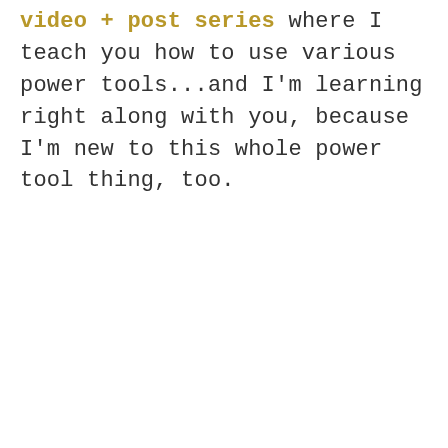video + post series where I teach you how to use various power tools...and I'm learning right along with you, because I'm new to this whole power tool thing, too.